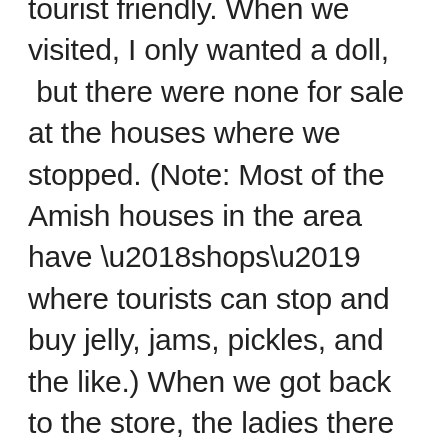tourist friendly. When we visited, I only wanted a doll, but there were none for sale at the houses where we stopped. (Note: Most of the Amish houses in the area have ‘shops’ where tourists can stop and buy jelly, jams, pickles, and the like.) When we got back to the store, the ladies there told me that they only had one Amish-made doll left. I snatched it up quickly. As they rung me out, they told me where the woman who made it lived (we actually stopped at her house on the tour) and they explained that her bishop said that she couldn’t make any more dolls to sell in the